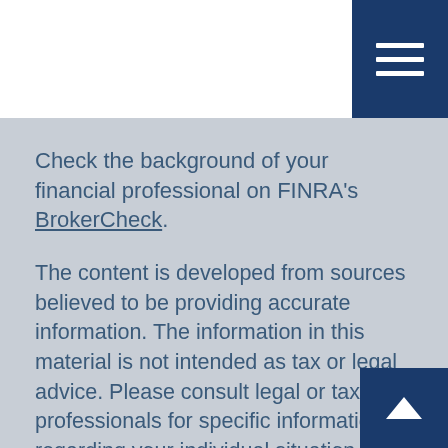Check the background of your financial professional on FINRA's BrokerCheck.
The content is developed from sources believed to be providing accurate information. The information in this material is not intended as tax or legal advice. Please consult legal or tax professionals for specific information regarding your individual situation. Some of this material was developed and produced by FMG Suite to provide information on a topic that may be of interest. FMG is not affiliated with the named representative, broker dealer, state - or SEC - registered investment advisory firm